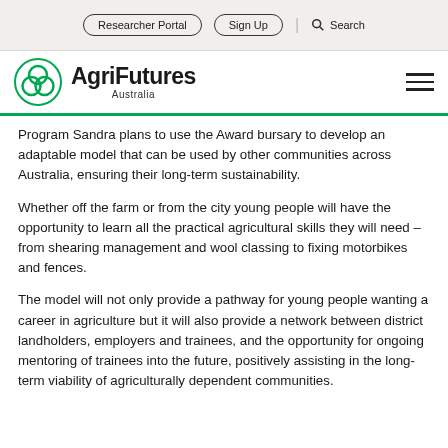Researcher Portal  Sign Up  Search
[Figure (logo): AgriFutures Australia logo — green circular trefoil icon with bold text 'AgriFutures' and 'Australia' below]
Program Sandra plans to use the Award bursary to develop an adaptable model that can be used by other communities across Australia, ensuring their long-term sustainability.
Whether off the farm or from the city young people will have the opportunity to learn all the practical agricultural skills they will need – from shearing management and wool classing to fixing motorbikes and fences.
The model will not only provide a pathway for young people wanting a career in agriculture but it will also provide a network between district landholders, employers and trainees, and the opportunity for ongoing mentoring of trainees into the future, positively assisting in the long-term viability of agriculturally dependent communities.